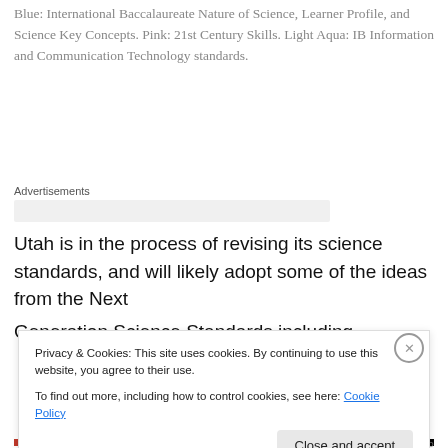Blue: International Baccalaureate Nature of Science, Learner Profile, and Science Key Concepts. Pink: 21st Century Skills. Light Aqua: IB Information and Communication Technology standards.
Advertisements
Utah is in the process of revising its science standards, and will likely adopt some of the ideas from the Next Generation Science Standards including engineering
Privacy & Cookies: This site uses cookies. By continuing to use this website, you agree to their use.
To find out more, including how to control cookies, see here: Cookie Policy